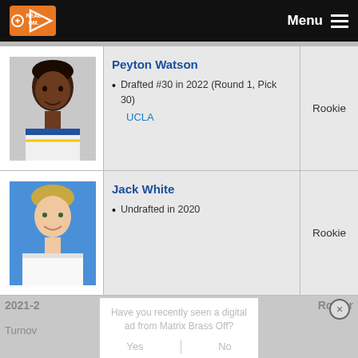RealGM | Menu
[Figure (photo): Peyton Watson player photo, UCLA uniform]
Peyton Watson
Drafted #30 in 2022 (Round 1, Pick 30)
UCLA
Rookie
[Figure (photo): Jack White player photo, white uniform]
Jack White
Undrafted in 2020
Rookie
2021-2
Roster
Turnov
Have you recently seen a digital ad from Matrix Brass Off?
Yes
No